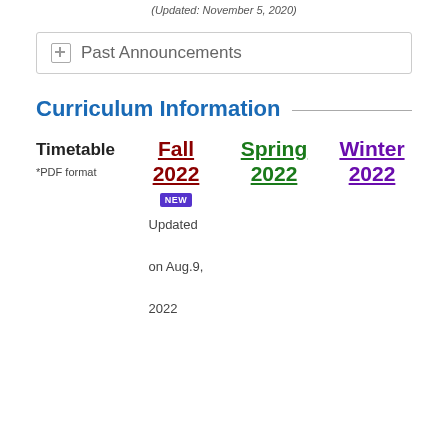(Updated: November 5, 2020)
Past Announcements
Curriculum Information
| Timetable | Fall 2022 | Spring 2022 | Winter 2022 |
| --- | --- | --- | --- |
| *PDF format | NEW
Updated on Aug.9, 2022 |  |  |